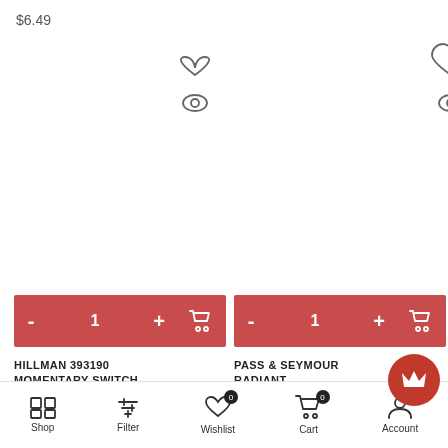$6.49
[Figure (screenshot): Product listing page showing two items with add-to-cart controls, wishlist and quick-view icons, product names (HILLMAN 393190 MOMENTARY SWITCH, and PASS & SEYMOUR RADIANT), and a bottom navigation bar with Shop, Filter, Wishlist, Cart, Account tabs.]
HILLMAN 393190 MOMENTARY SWITCH,
PASS & SEYMOUR RADIANT
Shop   Filter   Wishlist   Cart   Account